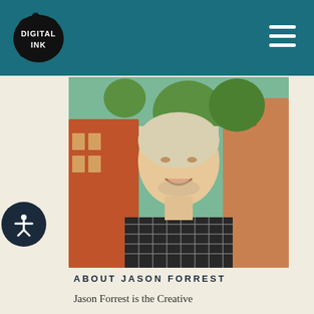Digital Ink
[Figure (photo): Portrait photo of Jason Forrest, a smiling man with light blond hair wearing a dark plaid shirt, photographed outdoors with buildings and green trees in the background.]
ABOUT JASON FORREST
Jason Forrest is the Creative